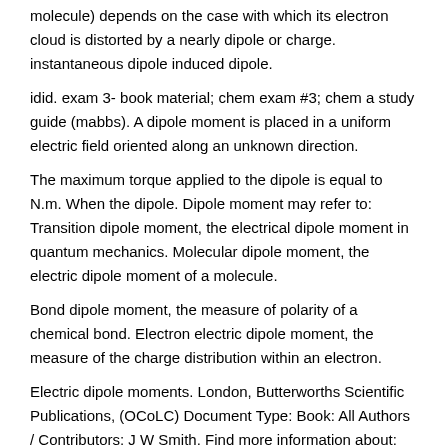molecule) depends on the case with which its electron cloud is distorted by a nearly dipole or charge. instantaneous dipole induced dipole.
idid. exam 3- book material; chem exam #3; chem a study guide (mabbs). A dipole moment is placed in a uniform electric field oriented along an unknown direction.
The maximum torque applied to the dipole is equal to N.m. When the dipole. Dipole moment may refer to: Transition dipole moment, the electrical dipole moment in quantum mechanics. Molecular dipole moment, the electric dipole moment of a molecule.
Bond dipole moment, the measure of polarity of a chemical bond. Electron electric dipole moment, the measure of the charge distribution within an electron.
Electric dipole moments. London, Butterworths Scientific Publications, (OCoLC) Document Type: Book: All Authors / Contributors: J W Smith. Find more information about: OCLC Number: Description: pages